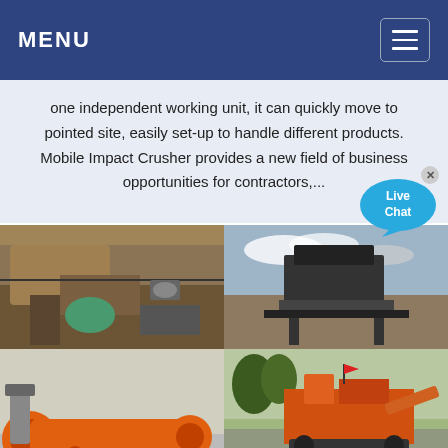MENU
one independent working unit, it can quickly move to pointed site, easily set-up to handle different products. Mobile Impact Crusher provides a new field of business opportunities for contractors,...
[Figure (photo): Four industrial mining/crushing equipment photos arranged in a 2x2 grid. Top-left: close-up of mining conveyor and crusher machinery with rust and green motor. Top-right: mobile impact crusher unit on a job site against cloudy sky. Bottom-left: orange rotary drum/dryer industrial equipment. Bottom-right: orange-colored mobile crusher/screening plant with red flags.]